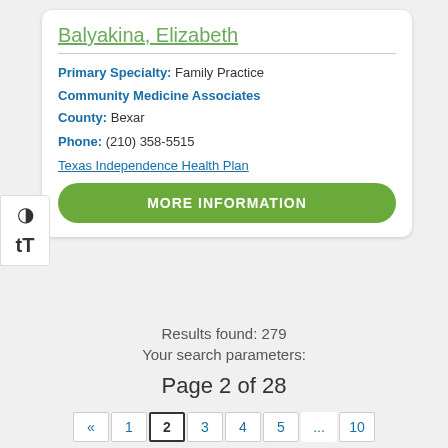Balyakina, Elizabeth
Primary Specialty: Family Practice
Community Medicine Associates
County: Bexar
Phone: (210) 358-5515
Texas Independence Health Plan
MORE INFORMATION
Results found: 279
Your search parameters:
Page 2 of 28
« 1 2 3 4 5 ... 10